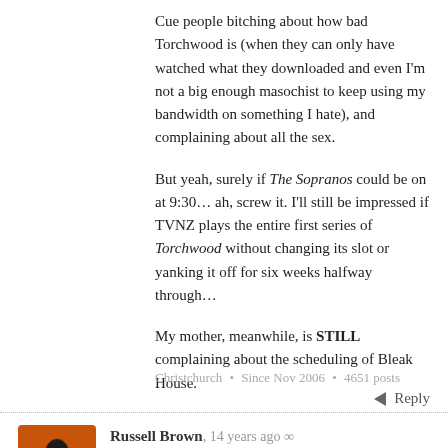Cue people bitching about how bad Torchwood is (when they can only have watched what they downloaded and even I'm not a big enough masochist to keep using my bandwidth on something I hate), and complaining about all the sex.
But yeah, surely if The Sopranos could be on at 9:30... ah, screw it. I'll still be impressed if TVNZ plays the entire first series of Torchwood without changing its slot or yanking it off for six weeks halfway through...
My mother, meanwhile, is STILL complaining about the scheduling of Bleak House.
Christchurch • Since Nov 2006 • 4651 posts
Reply
Russell Brown, 14 years ago
Which is going to make an already jam-packed